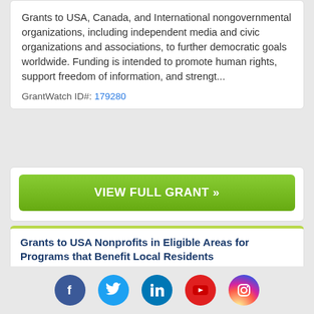Grants to USA, Canada, and International nongovernmental organizations, including independent media and civic organizations and associations, to further democratic goals worldwide. Funding is intended to promote human rights, support freedom of information, and strengt...
GrantWatch ID#: 179280
VIEW FULL GRANT »
Grants to USA Nonprofits in Eligible Areas for Programs that Benefit Local Residents
Deadline 11/15/22   LOI Date: 09/15/22
Grants to USA nonprofit organizations in eligible areas for programs that address the needs of local residents.
[Figure (infographic): Social media icons row: Facebook (blue circle), Twitter (light blue circle), LinkedIn (blue circle), YouTube (red circle), Instagram (gradient circle)]